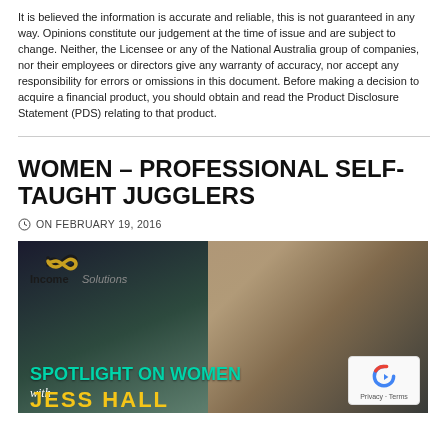It is believed the information is accurate and reliable, this is not guaranteed in any way. Opinions constitute our judgement at the time of issue and are subject to change. Neither, the Licensee or any of the National Australia group of companies, nor their employees or directors give any warranty of accuracy, nor accept any responsibility for errors or omissions in this document. Before making a decision to acquire a financial product, you should obtain and read the Product Disclosure Statement (PDS) relating to that product.
WOMEN – PROFESSIONAL SELF-TAUGHT JUGGLERS
ON FEBRUARY 19, 2016
[Figure (illustration): Income Solutions branded banner image showing a woman sitting reading with a coffee cup, featuring the text 'SPOTLIGHT ON WOMEN with JESS HALL' in teal/yellow. The Income Solutions logo with infinity symbol appears top left.]